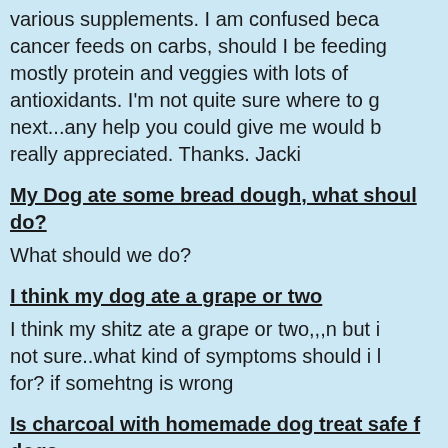various supplements. I am confused because cancer feeds on carbs, should I be feeding mostly protein and veggies with lots of antioxidants. I'm not quite sure where to go next...any help you could give me would be really appreciated. Thanks. Jacki
My Dog ate some bread dough, what should I do?
What should we do?
I think my dog ate a grape or two
I think my shitz ate a grape or two,,,n but i not sure..what kind of symptoms should i look for? if somehtng is wrong
Is charcoal with homemade dog treat safe for dogs